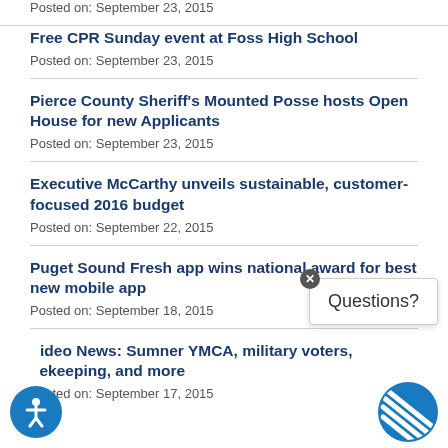Posted on: September 23, 2015
Free CPR Sunday event at Foss High School
Posted on: September 23, 2015
Pierce County Sheriff's Mounted Posse hosts Open House for new Applicants
Posted on: September 23, 2015
Executive McCarthy unveils sustainable, customer-focused 2016 budget
Posted on: September 22, 2015
Puget Sound Fresh app wins national award for best new mobile app
Posted on: September 18, 2015
Video News: Sumner YMCA, military voters, beekeeping, and more
Posted on: September 17, 2015